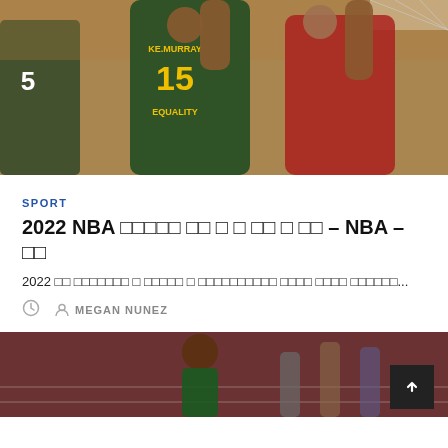[Figure (photo): Basketball game photo showing players in green and red jerseys. Player #15 KE.MURRAY with EQUALITY jersey attempts block against red-jersey player reaching for basket.]
SPORT
2022 NBA □□□□□ □□ □ □ □□ □ □□ – NBA – □□
2022 □□ □□□□□□□ □ □□□□□ □ □□□□□□□□□□ □□□□ □□□□ □□□□□□...
MEGAN NUNEZ
[Figure (photo): Female athlete on a track, looking up, wearing a green outfit.]